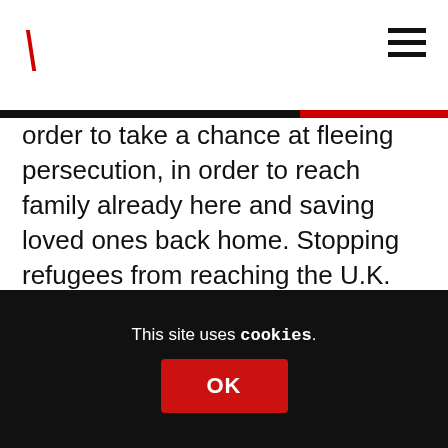\ (logo slash icon) and hamburger menu
order to take a chance at fleeing persecution, in order to reach family already here and saving loved ones back home. Stopping refugees from reaching the U.K. goes against the Geneva convention on refugees. They have a basic human right to seek safe sanctuary here.”
Instead we have a totally toxic media narrative about refugees cultivated by our own Home Secretary. Refugees do not have
This site uses cookies.
OK